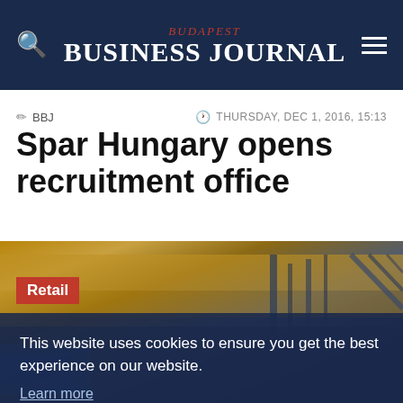Budapest Business Journal
BBJ   THURSDAY, DEC 1, 2016, 15:13
Spar Hungary opens recruitment office
[Figure (photo): Photo of a Spar store exterior with architectural roof structure visible, overlaid with a cookie consent banner reading: This website uses cookies to ensure you get the best experience on our website. Learn more. Buttons: Decline | Allow cookies. A red 'Retail' tag is in the upper left of the image.]